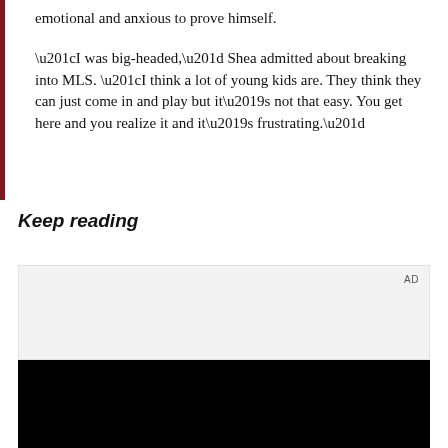emotional and anxious to prove himself.
“I was big-headed,” Shea admitted about breaking into MLS. “I think a lot of young kids are. They think they can just come in and play but it’s not that easy. You get here and you realize it and it’s frustrating.”
Keep reading
[Figure (other): Advertisement placeholder box labeled AD]
[Figure (other): Black video or media player area]